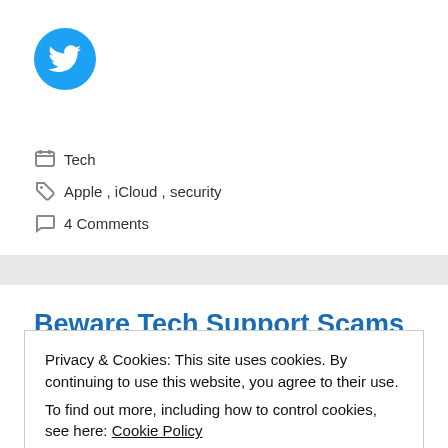[Figure (logo): Twitter bird logo in a teal/blue circle]
Tech
Apple, iCloud, security
4 Comments
Beware Tech Support Scams
problem with my computer.” I told him “No there isn’t.” He said, “What?” I said “There’s no
Privacy & Cookies: This site uses cookies. By continuing to use this website, you agree to their use.
To find out more, including how to control cookies, see here: Cookie Policy